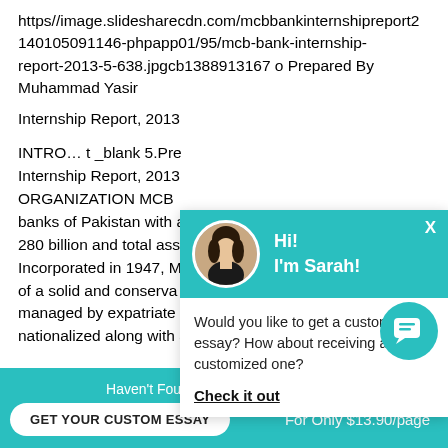https//image.slidesharecdn.com/mcbbankinternshipreport2014010509 1146-phpapp01/95/mcb-bank-internship-report-2013-5-638.jpgcb1388913167 o Prepared By Muhammad Yasir
Internship Report, 2013
INTRO… t _blank 5.Pre Internship Report, 2013 ORGANIZATION MCB banks of Pakistan with a 280 billion and total ass Incorporated in 1947, M of a solid and conserva managed by expatriate nationalized along with all other private sector ba
[Figure (screenshot): Chat popup with teal header showing avatar of Sarah, greeting 'Hi! I'm Sarah!', body text 'Would you like to get a custom essay? How about receiving a customized one?' and a bold underlined link 'Check it out'. Close X button top right.]
[Figure (screenshot): Teal circular chat icon button with speech bubble icon, bottom right area.]
Haven't Found The Essay You Want?
GET YOUR CUSTOM ESSAY
For Only $13.90/page